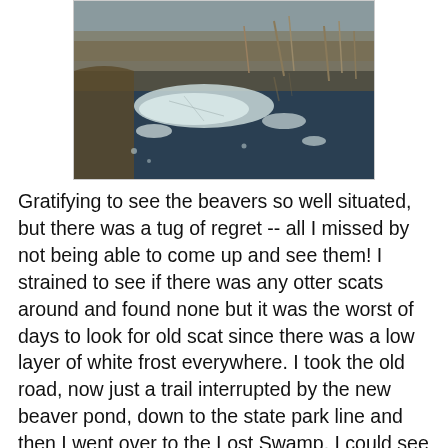[Figure (photo): Winter scene of a partially frozen pond or swamp, with ice sheets floating on dark water, bare brown grasses and shrubs in the background. Gray overcast sky visible at the top.]
Gratifying to see the beavers so well situated, but there was a tug of regret -- all I missed by not being able to come up and see them! I strained to see if there was any otter scats around and found none but it was the worst of days to look for old scat since there was a low layer of white frost everywhere. I took the old road, now just a trail interrupted by the new beaver pond, down to the state park line and then I went over to the Lost Swamp. I could see in an instant that no otters had been around. I crossed the pond and sat on a rock with a view of the open water in front of the lodge, but not too close. In less than five minutes a beaver came out, swam the length of